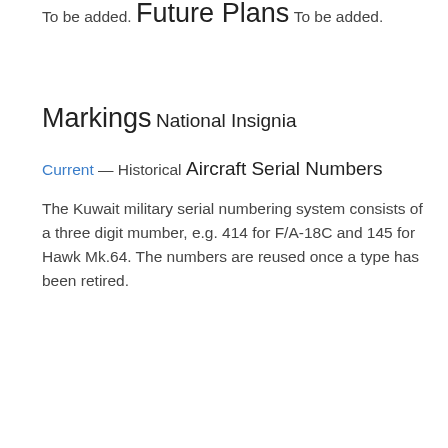To be added.
Future Plans
To be added.
Markings
National Insignia
Current — Historical
Aircraft Serial Numbers
The Kuwait military serial numbering system consists of a three digit mumber, e.g. 414 for F/A-18C and 145 for Hawk Mk.64. The numbers are reused once a type has been retired.